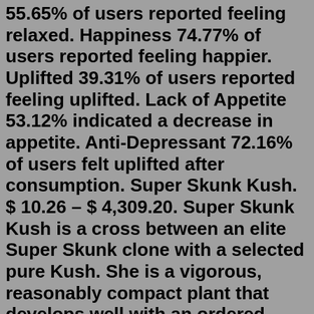55.65% of users reported feeling relaxed. Happiness 74.77% of users reported feeling happier. Uplifted 39.31% of users reported feeling uplifted. Lack of Appetite 53.12% indicated a decrease in appetite. Anti-Depressant 72.16% of users felt uplifted after consumption. Super Skunk Kush. $ 10.26 – $ 4,309.20. Super Skunk Kush is a cross between an elite Super Skunk clone with a selected pure Kush. She is a vigorous, reasonably compact plant that develops well with an ordered structure. The exuberant branches become full of large buds. Pack. Growing Super Skunk Seeds. These weed seeds can be grown both indoor and outdoor. With harvest time of about 8 to 10 weeks long, the outdoor plants get ready to be harvested by late September or early October. While indoor cultivation can yield up to 445 gms per square meter, the seeds can provide yield up to 600 grams per meter square if grown ... Super Skunk improves the two qualities that all growers are interested in, potency and yield, while also achieving a reduction of Skunks' usual growing odour.We have